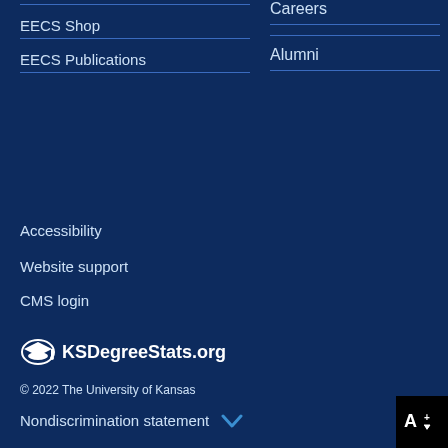EECS Shop
EECS Publications
Careers
Alumni
Accessibility
Website support
CMS login
[Figure (logo): KSDegreeStats.org logo with graduation cap icon]
© 2022 The University of Kansas
Nondiscrimination statement ∨